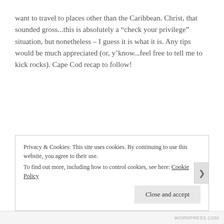want to travel to places other than the Caribbean. Christ, that sounded gross...this is absolutely a “check your privilege” situation, but nonetheless – I guess it is what it is. Any tips would be much appreciated (or, y’know...feel free to tell me to kick rocks). Cape Cod recap to follow!
Privacy & Cookies: This site uses cookies. By continuing to use this website, you agree to their use.
To find out more, including how to control cookies, see here: Cookie Policy
Close and accept
WORDPRESS.COM